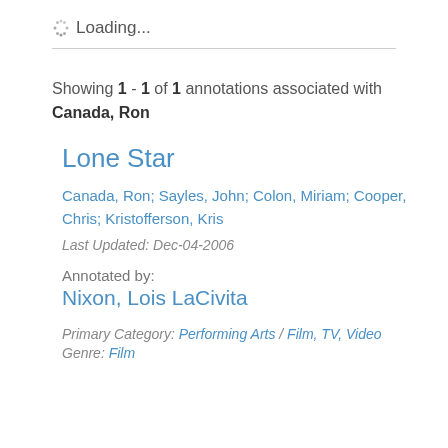Loading...
Showing 1 - 1 of 1 annotations associated with Canada, Ron
Lone Star
Canada, Ron; Sayles, John; Colon, Miriam; Cooper, Chris; Kristofferson, Kris
Last Updated: Dec-04-2006
Annotated by:
Nixon, Lois LaCivita
Primary Category: Performing Arts / Film, TV, Video
Genre: Film